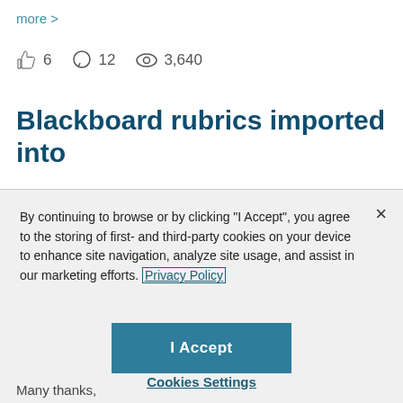more >
6  12  3,640
Blackboard rubrics imported into
By continuing to browse or by clicking "I Accept", you agree to the storing of first- and third-party cookies on your device to enhance site navigation, analyze site usage, and assist in our marketing efforts. Privacy Policy
I Accept
Cookies Settings
Many thanks,